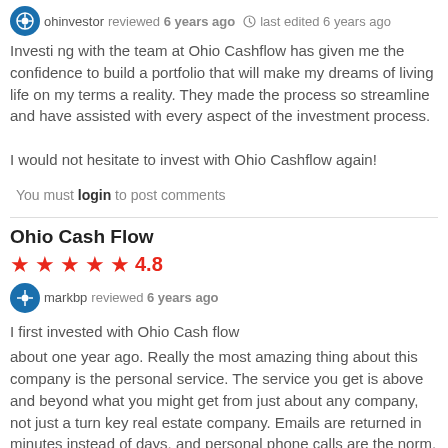ohinvestor reviewed 6 years ago  last edited 6 years ago
Investing with the team at Ohio Cashflow has given me the confidence to build a portfolio that will make my dreams of living life on my terms a reality. They made the process so streamline and have assisted with every aspect of the investment process.

I would not hesitate to invest with Ohio Cashflow again!
You must login to post comments
Ohio Cash Flow
4.8 stars
markbp reviewed 6 years ago
I first invested with Ohio Cash flow about one year ago. Really the most amazing thing about this company is the personal service. The service you get is above and beyond what you might get from just about any company, not just a turn key real estate company. Emails are returned in minutes instead of days, and personal phone calls are the norm. They value you as an investor and treat you as though your business is appreciated.